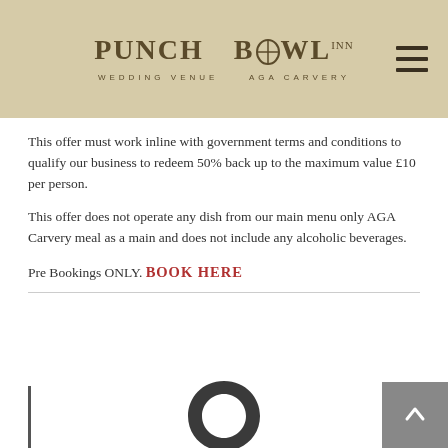Punch Bowl INN — Wedding Venue AGA Carvery
This offer must work inline with government terms and conditions to qualify our business to redeem 50% back up to the maximum value £10 per person.
This offer does not operate any dish from our main menu only AGA Carvery meal as a main and does not include any alcoholic beverages.
Pre Bookings ONLY. BOOK HERE
[Figure (logo): Partial logo at bottom of page]